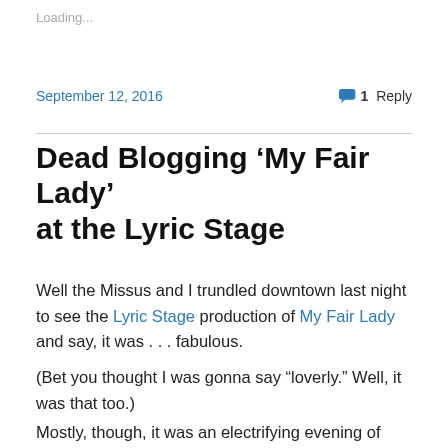Loading...
September 12, 2016
1 Reply
Dead Blogging ‘My Fair Lady’ at the Lyric Stage
Well the Missus and I trundled downtown last night to see the Lyric Stage production of My Fair Lady and say, it was . . . fabulous.
(Bet you thought I was gonna say “loverly.” Well, it was that too.)
Mostly, though, it was an electrifying evening of theater bursting with energy and ingenious staging.